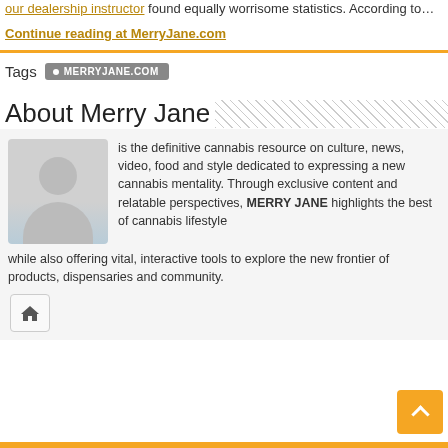our dealership instructor found equally worrisome statistics. According to…
Continue reading at MerryJane.com
Tags MERRYJANE.COM
About Merry Jane
is the definitive cannabis resource on culture, news, video, food and style dedicated to expressing a new cannabis mentality. Through exclusive content and relatable perspectives, MERRY JANE highlights the best of cannabis lifestyle while also offering vital, interactive tools to explore the new frontier of products, dispensaries and community.
[Figure (illustration): Avatar placeholder silhouette of a person (head and shoulders)]
[Figure (other): Home icon button]
[Figure (other): Orange scroll-up arrow button]